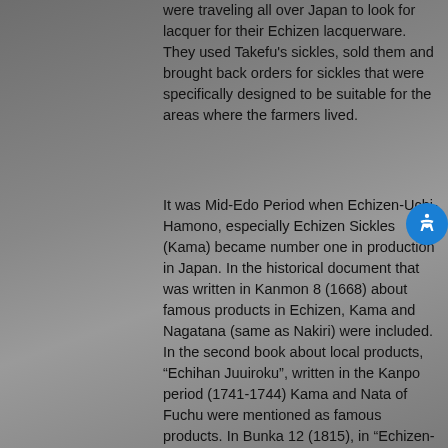were traveling all over Japan to look for lacquer for their Echizen lacquerware. They used Takefu's sickles, sold them and brought back orders for sickles that were specifically designed to be suitable for the areas where the farmers lived.
It was Mid-Edo Period when Echizen-Uchi-Hamono, especially Echizen Sickles (Kama) became number one in production in Japan. In the historical document that was written in Kanmon 8 (1668) about famous products in Echizen, Kama and Nagatana (same as Nakiri) were included. In the second book about local products, “Echihan Juuiroku”, written in the Kanpo period (1741-1744) Kama and Nata of Fuchu were mentioned as famous products. In Bunka 12 (1815), in “Echizen-kuni Meikeiko”, written by Sensho Inoue, Kama and Nata of Fuchu were mentioned as products of Fuchu-Takefu as well. Also, in a historical document written at the end of Edo period, there are facts about products that were sent to other regions from Echizen and their prices. According to the document, two million ryo (currency at that time) was made from selling Kama and Nagatana of Fuchu-Takefu. In the Meiji period, due to abolition of feudal domains, establishment of